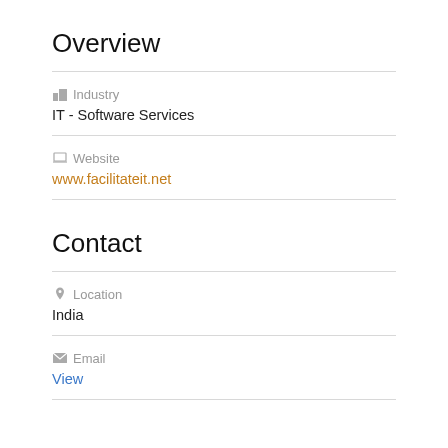Overview
Industry
IT - Software Services
Website
www.facilitateit.net
Contact
Location
India
Email
View